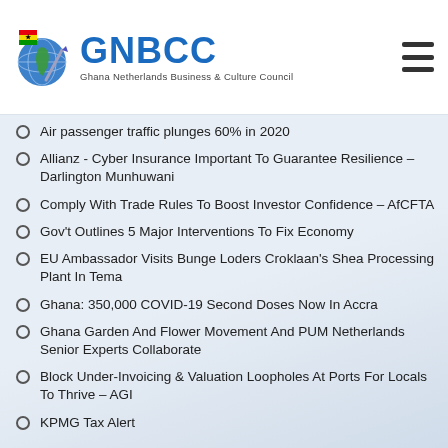[Figure (logo): GNBCC - Ghana Netherlands Business & Culture Council logo with globe/flag graphic]
Air passenger traffic plunges 60% in 2020
Allianz - Cyber Insurance Important To Guarantee Resilience – Darlington Munhuwani
Comply With Trade Rules To Boost Investor Confidence – AfCFTA
Gov't Outlines 5 Major Interventions To Fix Economy
EU Ambassador Visits Bunge Loders Croklaan's Shea Processing Plant In Tema
Ghana: 350,000 COVID-19 Second Doses Now In Accra
Ghana Garden And Flower Movement And PUM Netherlands Senior Experts Collaborate
Block Under-Invoicing & Valuation Loopholes At Ports For Locals To Thrive – AGI
KPMG Tax Alert